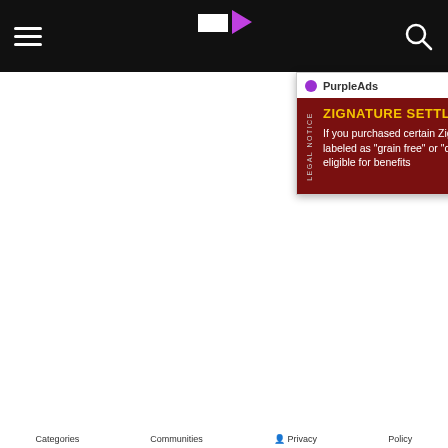[Figure (screenshot): Black navigation bar with hamburger menu icon on left, website logo (TV/media site) in center, and search icon on right]
[Figure (infographic): PurpleAds popup advertisement banner for Zignature Settlement legal notice. Dark red background with yellow heading 'ZIGNATURE SETTLEMENT' and white body text: 'If you purchased certain Zignature pet food products labeled as "grain free" or "chicken free," you may be eligible for benefits'. Vertical 'LEGAL NOTICE' text on left side.]